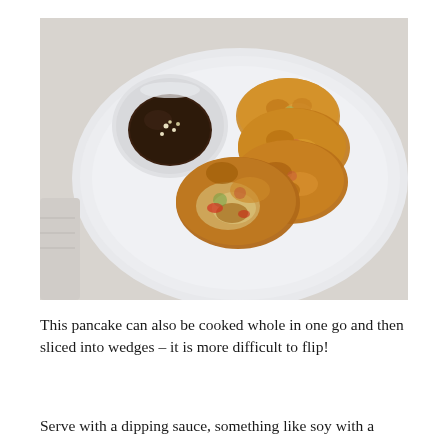[Figure (photo): A white plate with several golden-brown vegetable fritters/pancakes arranged on it, with a small white bowl of dark dipping sauce garnished with sesame seeds. The plate sits on a light marble surface.]
This pancake can also be cooked whole in one go and then sliced into wedges – it is more difficult to flip!
Serve with a dipping sauce, something like soy with a